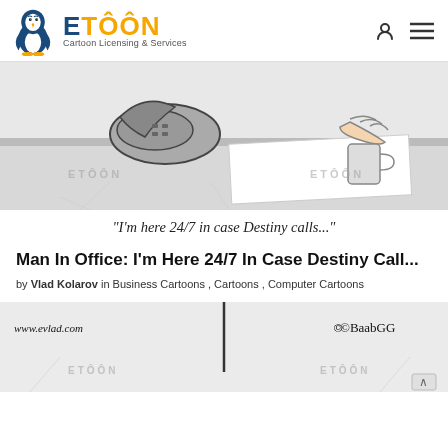[Figure (logo): Etoon Cartoon Licensing & Services logo with penguin mascot]
[Figure (illustration): Cartoon of a man at office desk with telephone, paper and coffee mug, with ETOON watermarks]
"I'm here 24/7 in case Destiny calls..."
Man In Office: I'm Here 24/7 In Case Destiny Call...
by Vlad Kolarov in Business Cartoons , Cartoons , Computer Cartoons
[Figure (illustration): Bottom portion of a cartoon drawing with ETOON watermarks, www.evlad.com URL and copyright signature]
www.evlad.com